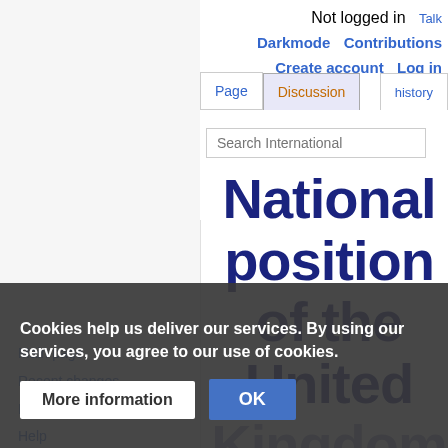Not logged in  Talk  Darkmode  Contributions  Create account  Log in
Page  Discussion  history  Search International
National position of the United Kingdom
Main page
Recent changes
Random page
Help
Tools
What links here
Related changes
Special pages
Printable version
Page information
Get shortened U
Cite this page
Cookies help us deliver our services. By using our services, you agree to our use of cookies.
More information
OK